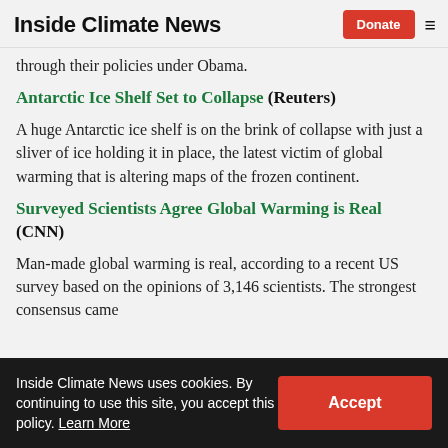Inside Climate News | Donate
through their policies under Obama.
Antarctic Ice Shelf Set to Collapse (Reuters)
A huge Antarctic ice shelf is on the brink of collapse with just a sliver of ice holding it in place, the latest victim of global warming that is altering maps of the frozen continent.
Surveyed Scientists Agree Global Warming is Real (CNN)
Man-made global warming is real, according to a recent US survey based on the opinions of 3,146 scientists. The strongest consensus came
Inside Climate News uses cookies. By continuing to use this site, you accept this policy. Learn More